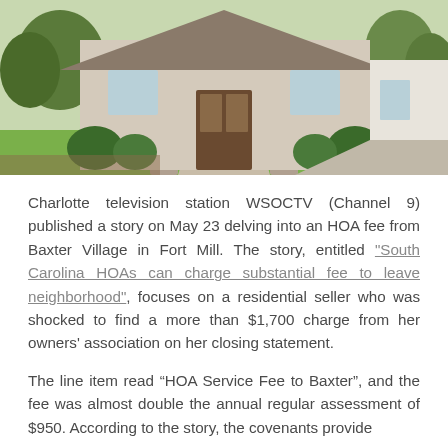[Figure (photo): Exterior photo of a residential house with stone pillars, manicured bushes, green lawn, and a concrete walkway leading to the front porch.]
Charlotte television station WSOCTV (Channel 9) published a story on May 23 delving into an HOA fee from Baxter Village in Fort Mill. The story, entitled "South Carolina HOAs can charge substantial fee to leave neighborhood", focuses on a residential seller who was shocked to find a more than $1,700 charge from her owners' association on her closing statement.
The line item read “HOA Service Fee to Baxter”, and the fee was almost double the annual regular assessment of $950. According to the story, the covenants provide